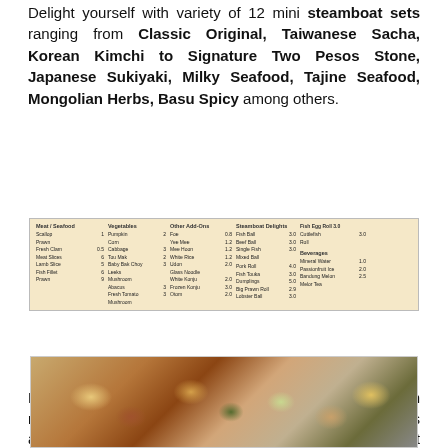Delight yourself with variety of 12 mini steamboat sets ranging from Classic Original, Taiwanese Sacha, Korean Kimchi to Signature Two Pesos Stone, Japanese Sukiyaki, Milky Seafood, Tajine Seafood, Mongolian Herbs, Basu Spicy among others.
[Figure (table-as-image): Menu table showing Add-Ons and Steamboat Delights with prices for vegetables, other add-ons, and steamboat delights including beverages]
Menu for Add-Ons & Steamboat Delights
Patrons can choose to add-ons from a selection of fresh meat, seafood, vegetables, eggs, noodles, tofu, meat balls and of great quality healthy broths to go with the steamboat set. Prices ranging from as low as RM 1.20 for noodles/rice to RM 6.00 for seafood/meat items.
[Figure (photo): Photo of steamboat food items including vegetables, seafood, and other ingredients arranged in a tray]